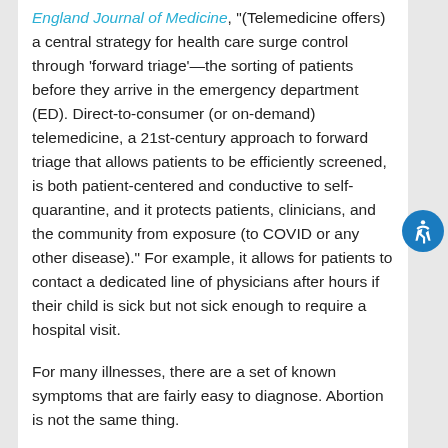England Journal of Medicine, "(Telemedicine offers) a central strategy for health care surge control through 'forward triage'—the sorting of patients before they arrive in the emergency department (ED). Direct-to-consumer (or on-demand) telemedicine, a 21st-century approach to forward triage that allows patients to be efficiently screened, is both patient-centered and conductive to self-quarantine, and it protects patients, clinicians, and the community from exposure (to COVID or any other disease)." For example, it allows for patients to contact a dedicated line of physicians after hours if their child is sick but not sick enough to require a hospital visit.
For many illnesses, there are a set of known symptoms that are fairly easy to diagnose. Abortion is not the same thing.